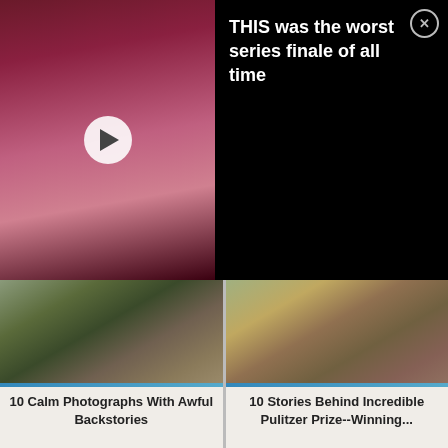[Figure (screenshot): Video advertisement thumbnail showing a person in pink/maroon tones with a play button overlay]
THIS was the worst series finale of all time
[Figure (photo): Two women wearing sunglasses and military-style jackets sitting outdoors]
10 Calm Photographs With Awful Backstories
[Figure (photo): A vulture standing behind a crouching child in a dry landscape]
10 Stories Behind Incredible Pulitzer Prize--Winning...
[Figure (photo): Partial image of a dark scene, bottom of page]
[Figure (photo): Partial image of a bluish dark scene, bottom of page]